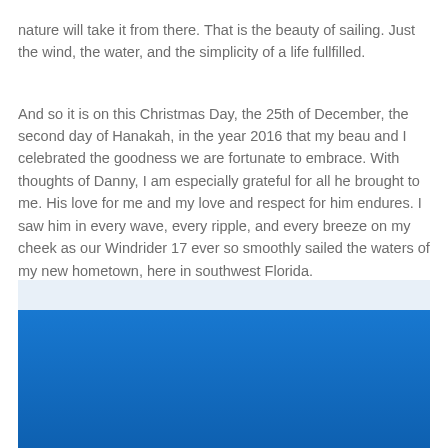nature will take it from there. That is the beauty of sailing. Just the wind, the water, and the simplicity of a life fullfilled.
And so it is on this Christmas Day, the 25th of December, the second day of Hanakah, in the year 2016 that my beau and I celebrated the goodness we are fortunate to embrace. With thoughts of Danny, I am especially grateful for all he brought to me. His love for me and my love and respect for him endures. I saw him in every wave, every ripple, and every breeze on my cheek as our Windrider 17 ever so smoothly sailed the waters of my new hometown, here in southwest Florida.
[Figure (photo): Left: wide photo of ocean/sea with pelicans along the bottom edge against a bright blue sky and blue water horizon. Top right: photo of sailing rigging with ropes and someone's feet/toes on a boat deck. Bottom right: partial photo showing bright blue sky or water.]